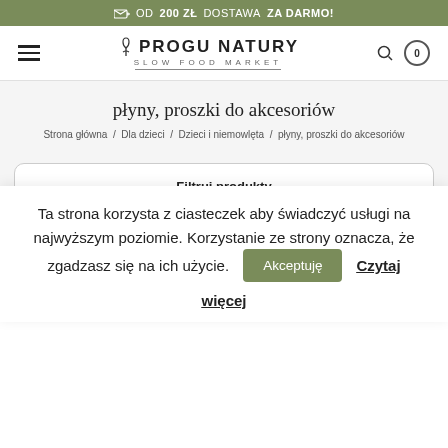OD 200 ZŁ DOSTAWA ZA DARMO!
[Figure (logo): U Progu Natury logo with hamburger menu, search icon, and cart badge showing 0]
płyny, proszki do akcesoriów
Strona główna / Dla dzieci / Dzieci i niemowlęta / płyny, proszki do akcesoriów
Filtruj produkty
Domyślne sortowanie
Ta strona korzysta z ciasteczek aby świadczyć usługi na najwyższym poziomie. Korzystanie ze strony oznacza, że zgadzasz się na ich użycie. Akceptuję Czytaj więcej